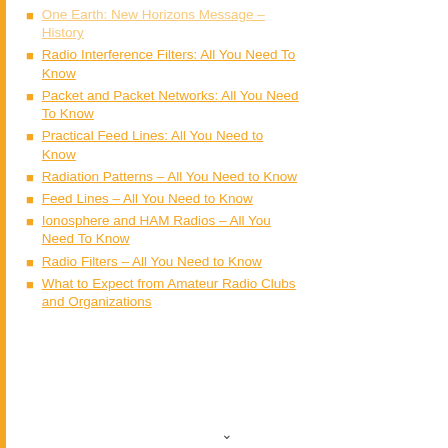One Earth: New Horizons Message – History
Radio Interference Filters: All You Need To Know
Packet and Packet Networks: All You Need To Know
Practical Feed Lines: All You Need to Know
Radiation Patterns – All You Need to Know
Feed Lines – All You Need to Know
Ionosphere and HAM Radios – All You Need To Know
Radio Filters – All You Need to Know
What to Expect from Amateur Radio Clubs and Organizations